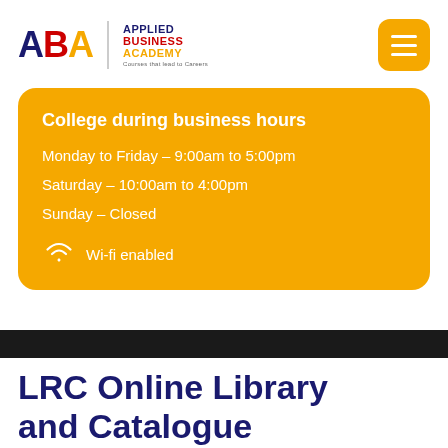[Figure (logo): Applied Business Academy logo with ABA letters in navy, red, and yellow, with text Applied Business Academy and tagline Courses that lead to Careers]
College during business hours
Monday to Friday - 9:00am to 5:00pm
Saturday - 10:00am to 4:00pm
Sunday - Closed
Wi-fi enabled
LRC Online Library and Catalogue